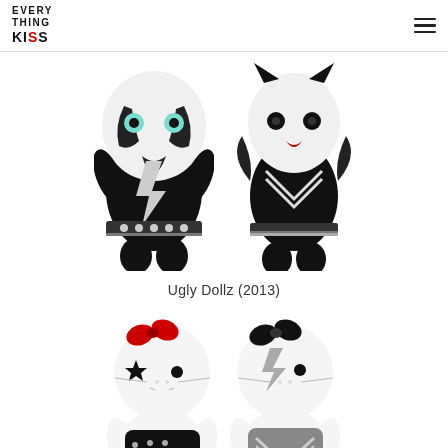EVERY THING KISS
[Figure (photo): Two KISS-themed Ugly Dollz plush toys side by side. Left: Catman-style doll with black and white face paint, black costume with lightning bolt, studded belt. Right: Demon-style doll with black wings, black and white costume with V-chevron, red tongue.]
Ugly Dollz (2013)
[Figure (photo): Two KISS-themed Hello Kitty plush dolls. Left: Starchild-style Hello Kitty with red bow, black star eye makeup, studded black outfit. Right: Spaceman-style Hello Kitty with black bow, silver lightning bolt face paint, silver and black costume.]